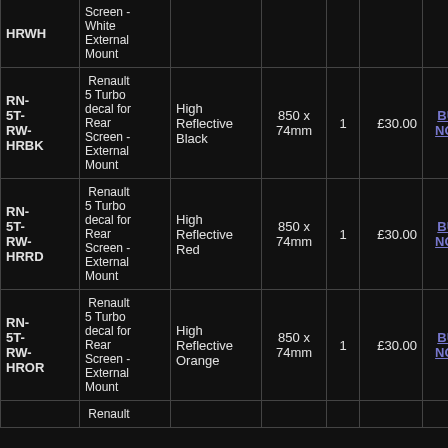| Code | Description | Material | Size | Qty | Price |  |
| --- | --- | --- | --- | --- | --- | --- |
| HRWH | Screen - White External Mount |  |  |  |  |  |
| RN-5T-RW-HRBK | Renault 5 Turbo decal for Rear Screen - External Mount | High Reflective Black | 850 x 74mm | 1 | £30.00 | BUY NOW |
| RN-5T-RW-HRRD | Renault 5 Turbo decal for Rear Screen - External Mount | High Reflective Red | 850 x 74mm | 1 | £30.00 | BUY NOW |
| RN-5T-RW-HROR | Renault 5 Turbo decal for Rear Screen - External Mount | High Reflective Orange | 850 x 74mm | 1 | £30.00 | BUY NOW |
|  | Renault |  |  |  |  |  |